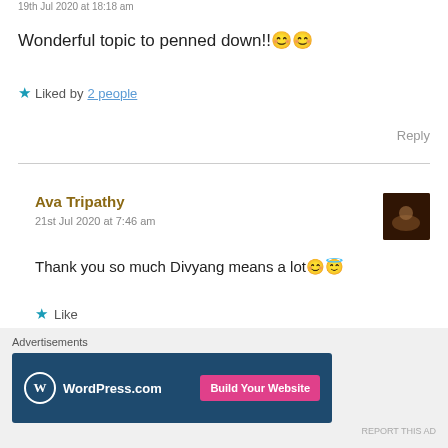19th Jul 2020 at 18:18 am
Wonderful topic to penned down!!😊😊
★ Liked by 2 people
Reply
Ava Tripathy
21st Jul 2020 at 7:46 am
Thank you so much Divyang means a lot😊😇
★ Like
Advertisements
WordPress.com — Build Your Website